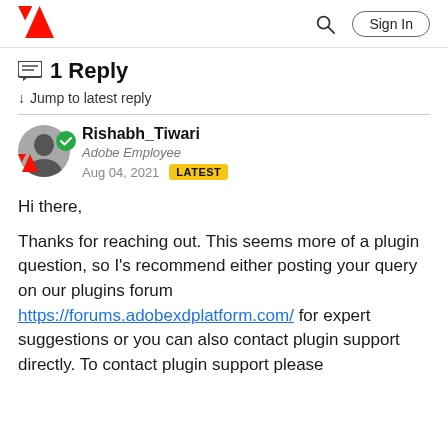Adobe logo | Search | Sign In
1 Reply
↓ Jump to latest reply
Rishabh_Tiwari
Adobe Employee
Aug 04, 2021  LATEST
Hi there,

Thanks for reaching out. This seems more of a plugin question, so I's recommend either posting your query on our plugins forum https://forums.adobexdplatform.com/ for expert suggestions or you can also contact plugin support directly. To contact plugin support please